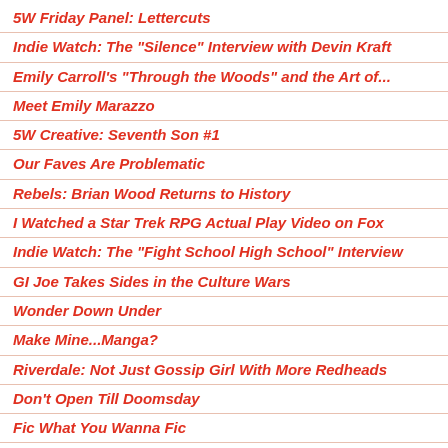5W Friday Panel: Lettercuts
Indie Watch: The "Silence" Interview with Devin Kraft
Emily Carroll's "Through the Woods" and the Art of...
Meet Emily Marazzo
5W Creative: Seventh Son #1
Our Faves Are Problematic
Rebels: Brian Wood Returns to History
I Watched a Star Trek RPG Actual Play Video on Fox
Indie Watch: The "Fight School High School" Interview
GI Joe Takes Sides in the Culture Wars
Wonder Down Under
Make Mine...Manga?
Riverdale: Not Just Gossip Girl With More Redheads
Don't Open Till Doomsday
Fic What You Wanna Fic
Meet Greg Morrow: Trapped in a World He Never